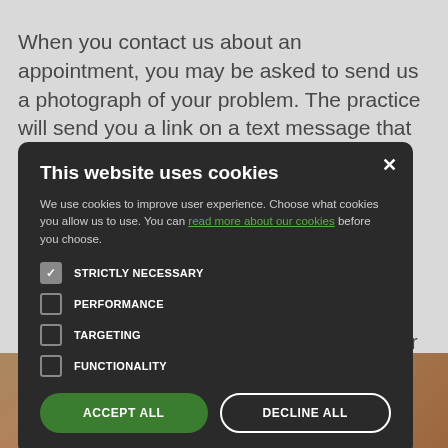When you contact us about an appointment, you may be asked to send us a photograph of your problem. The practice will send you a link on a text message that reads s... n, the GP would ... em you ... well-lit, in f... so that your D... ank you." ... clear and in f... or size ... is particularly i... ump or rash.
[Figure (photo): Close-up photograph of skin showing a skin condition, partially visible at the bottom of the page]
This website uses cookies

We use cookies to improve user experience. Choose what cookies you allow us to use. You can read more about our cookies before you choose.

STRICTLY NECESSARY
PERFORMANCE
TARGETING
FUNCTIONALITY

ACCEPT ALL    DECLINE ALL